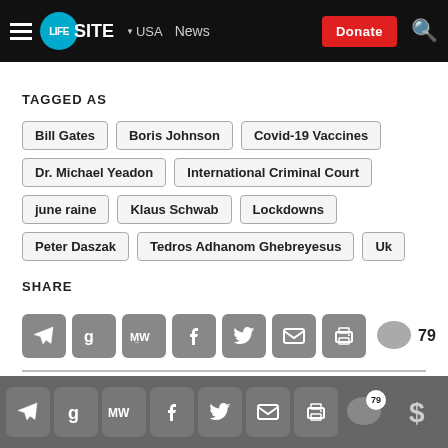LIFESITE — USA — News — Donate
TAGGED AS
Bill Gates
Boris Johnson
Covid-19 Vaccines
Dr. Michael Yeadon
International Criminal Court
june raine
Klaus Schwab
Lockdowns
Peter Daszak
Tedros Adhanom Ghebreyesus
Uk
SHARE
79 comments
Social share bar with 79 comments and donate button